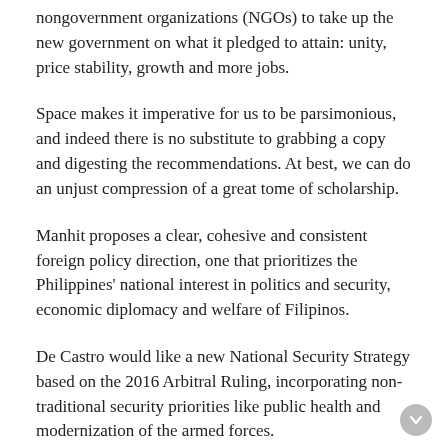nongovernment organizations (NGOs) to take up the new government on what it pledged to attain: unity, price stability, growth and more jobs.
Space makes it imperative for us to be parsimonious, and indeed there is no substitute to grabbing a copy and digesting the recommendations. At best, we can do an unjust compression of a great tome of scholarship.
Manhit proposes a clear, cohesive and consistent foreign policy direction, one that prioritizes the Philippines' national interest in politics and security, economic diplomacy and welfare of Filipinos.
De Castro would like a new National Security Strategy based on the 2016 Arbitral Ruling, incorporating non-traditional security priorities like public health and modernization of the armed forces.